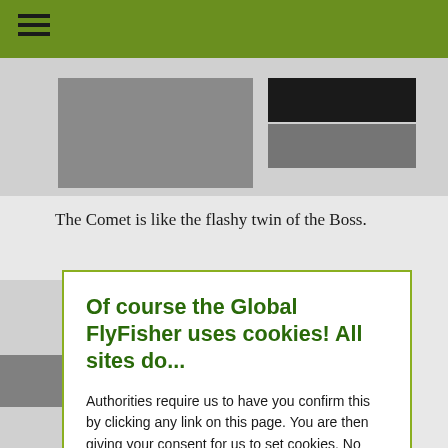[Figure (photo): Partial view of a dark and gray object (appears to be a fly fishing reel or similar), cropped screenshot style]
The Comet is like the flashy twin of the Boss.
Of course the Global FlyFisher uses cookies! All sites do...
Authorities require us to have you confirm this by clicking any link on this page. You are then giving your consent for us to set cookies. No cookies, no GFF!
More about privacy and cookies
OK, I agree
T e